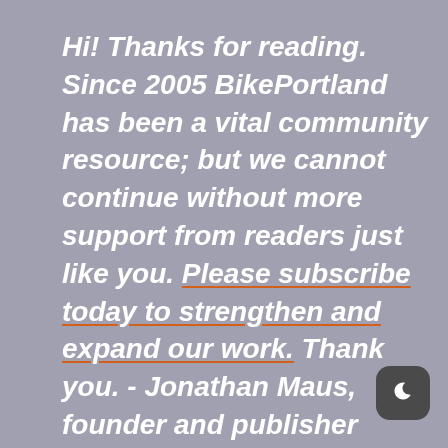Hi! Thanks for reading. Since 2005 BikePortland has been a vital community resource; but we cannot continue without more support from readers just like you. Please subscribe today to strengthen and expand our work. Thank you. - Jonathan Maus, founder and publisher